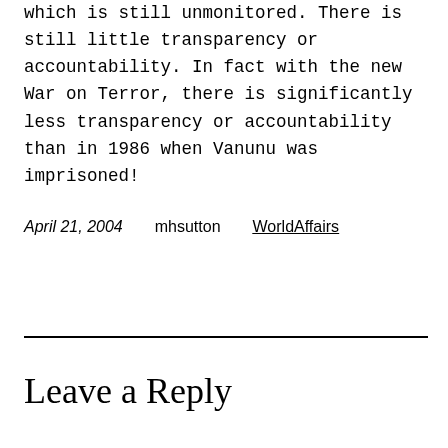which is still unmonitored. There is still little transparency or accountability. In fact with the new War on Terror, there is significantly less transparency or accountability than in 1986 when Vanunu was imprisoned!
April 21, 2004   mhsutton   WorldAffairs
Leave a Reply